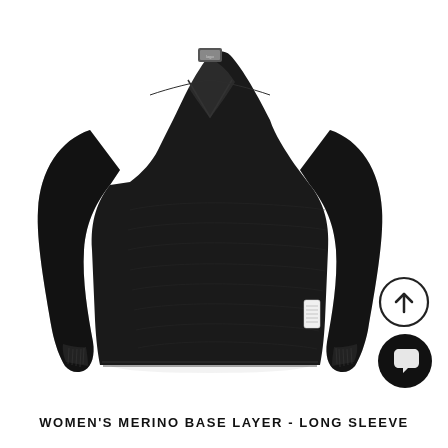[Figure (photo): Product photo of a black women's merino base layer long sleeve shirt with V-neck, fitted silhouette, long sleeves, and a small white label tag on the lower right side seam. The garment is shown on a plain white background.]
WOMEN'S MERINO BASE LAYER - LONG SLEEVE